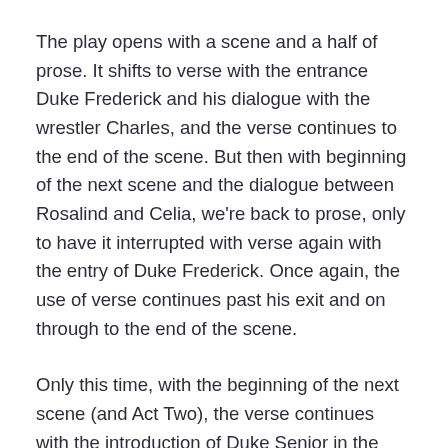The play opens with a scene and a half of prose. It shifts to verse with the entrance Duke Frederick and his dialogue with the wrestler Charles, and the verse continues to the end of the scene. But then with beginning of the next scene and the dialogue between Rosalind and Celia, we're back to prose, only to have it interrupted with verse again with the entry of Duke Frederick. Once again, the use of verse continues past his exit and on through to the end of the scene.
Only this time, with the beginning of the next scene (and Act Two), the verse continues with the introduction of Duke Senior in the Forest of Arden, and the verse continues through this scene and the next, with Duke Frederick back in court, and the scene that follows, still in Frederick's court, with Orlando and Adam. With Act Two, Scene Four, and Rosalind, Celia, and Touchstone's entrance into the Forest of Arden, we return to prose